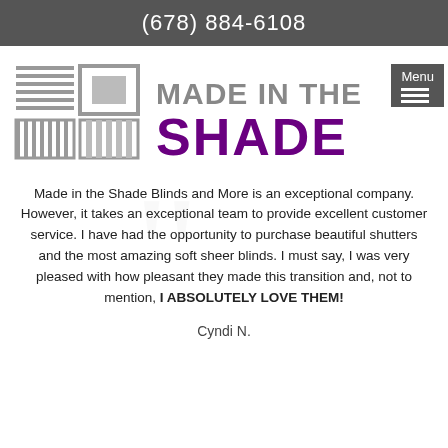(678) 884-6108
[Figure (logo): Made in the Shade blinds logo with window covering icons on left and 'MADE IN THE SHADE' text in gray and purple on right, with a Menu button overlay]
Made in the Shade Blinds and More is an exceptional company. However, it takes an exceptional team to provide excellent customer service. I have had the opportunity to purchase beautiful shutters and the most amazing soft sheer blinds. I must say, I was very pleased with how pleasant they made this transition and, not to mention, I ABSOLUTELY LOVE THEM!
Cyndi N.